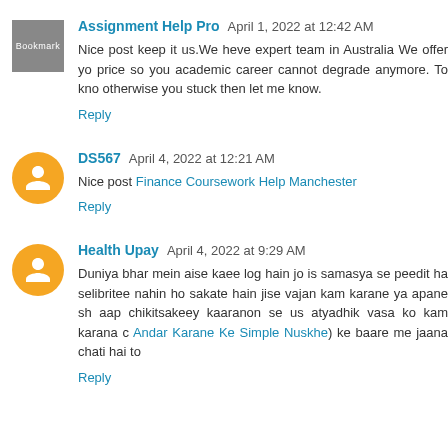Assignment Help Pro  April 1, 2022 at 12:42 AM
Nice post keep it us.We heve expert team in Australia We offer yo price so you academic career cannot degrade anymore. To kno otherwise you stuck then let me know.
Reply
DS567  April 4, 2022 at 12:21 AM
Nice post Finance Coursework Help Manchester
Reply
Health Upay  April 4, 2022 at 9:29 AM
Duniya bhar mein aise kaee log hain jo is samasya se peedit ha selibritee nahin ho sakate hain jise vajan kam karane ya apane sh aap chikitsakeey kaaranon se us atyadhik vasa ko kam karana c Andar Karane Ke Simple Nuskhe) ke baare me jaana chati hai to
Reply